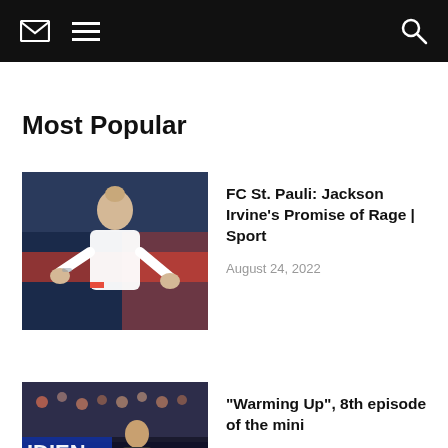Navigation bar with envelope, hamburger menu, and search icons
Most Popular
[Figure (photo): Soccer player in white jersey gesturing with hands, apparently shouting]
FC St. Pauli: Jackson Irvine's Promise of Rage | Sport
August 24, 2022
[Figure (photo): Basketball player in a dark arena setting, partial view]
“Warming Up”, 8th episode of the mini